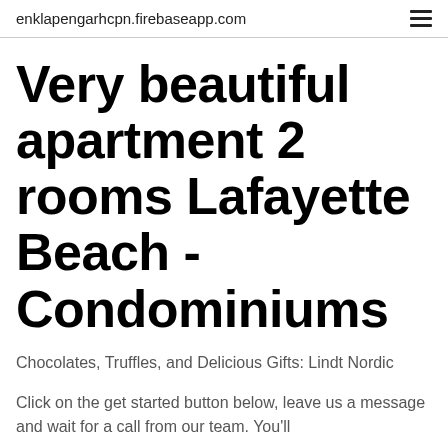enklapengarhcpn.firebaseapp.com
Very beautiful apartment 2 rooms Lafayette Beach - Condominiums
Chocolates, Truffles, and Delicious Gifts: Lindt Nordic
Click on the get started button below, leave us a message and wait for a call from our team. You'll